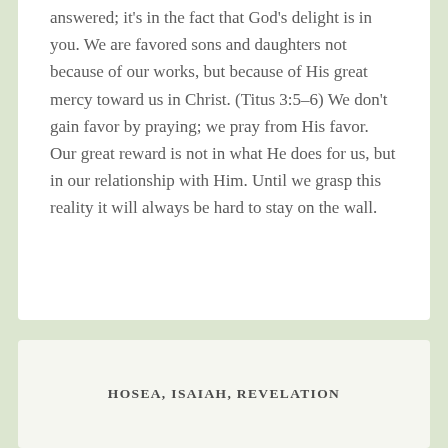answered; it's in the fact that God's delight is in you. We are favored sons and daughters not because of our works, but because of His great mercy toward us in Christ. (Titus 3:5–6) We don't gain favor by praying; we pray from His favor. Our great reward is not in what He does for us, but in our relationship with Him. Until we grasp this reality it will always be hard to stay on the wall.
HOSEA, ISAIAH, REVELATION